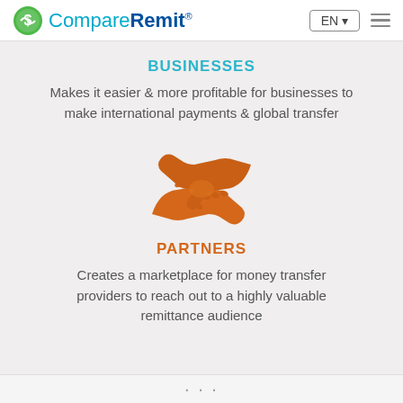CompareRemit®  EN  ≡
BUSINESSES
Makes it easier & more profitable for businesses to make international payments & global transfer
[Figure (illustration): Orange handshake icon representing partners]
PARTNERS
Creates a marketplace for money transfer providers to reach out to a highly valuable remittance audience